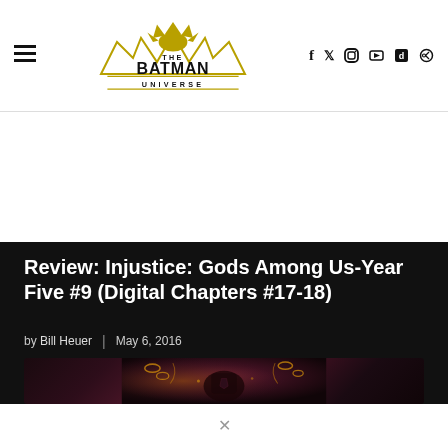The Batman Universe - site header with navigation and social icons
Review: Injustice: Gods Among Us-Year Five #9 (Digital Chapters #17-18)
by Bill Heuer  |  May 6, 2016
[Figure (illustration): Comic book artwork showing a dark scene with purple and gold hues, featuring what appears to be a superhero character in action]